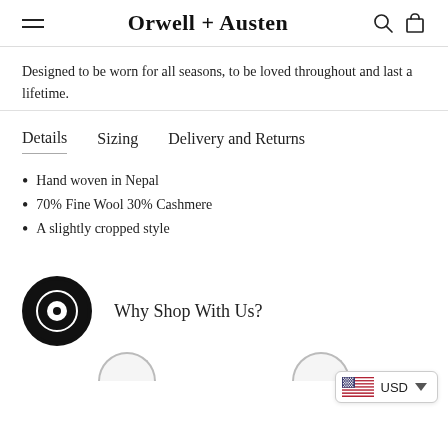Orwell + Austen
Designed to be worn for all seasons, to be loved throughout and last a lifetime.
Details   Sizing   Delivery and Returns
Hand woven in Nepal
70% Fine Wool 30% Cashmere
A slightly cropped style
Why Shop With Us?